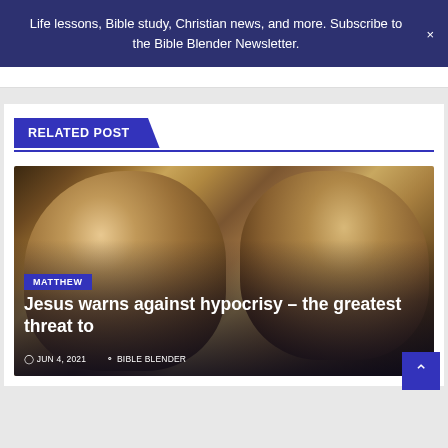Life lessons, Bible study, Christian news, and more. Subscribe to the Bible Blender Newsletter.
RELATED POST
[Figure (illustration): Painting of two elderly bearded men wearing ornate turbans, depicted in a classical religious art style suggesting Jewish religious leaders or Pharisees.]
MATTHEW
Jesus warns against hypocrisy – the greatest threat to
JUN 4, 2021   BIBLE BLENDER